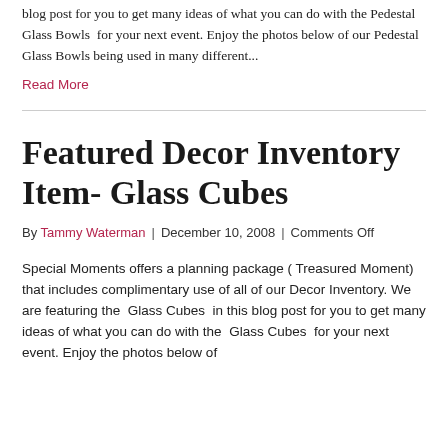blog post for you to get many ideas of what you can do with the Pedestal Glass Bowls  for your next event. Enjoy the photos below of our Pedestal Glass Bowls being used in many different...
Read More
Featured Decor Inventory Item- Glass Cubes
By Tammy Waterman | December 10, 2008 | Comments Off
Special Moments offers a planning package ( Treasured Moment) that includes complimentary use of all of our Decor Inventory. We are featuring the  Glass Cubes  in this blog post for you to get many ideas of what you can do with the  Glass Cubes  for your next event. Enjoy the photos below of